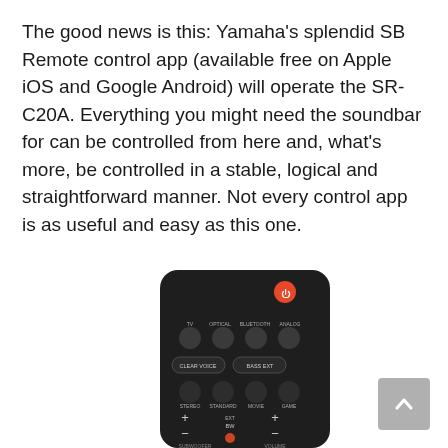The good news is this: Yamaha's splendid SB Remote control app (available free on Apple iOS and Google Android) will operate the SR-C20A. Everything you might need the soundbar for can be controlled from here and, what's more, be controlled in a stable, logical and straightforward manner. Not every control app is as useful and easy as this one.
[Figure (photo): A black Yamaha SR-C20A soundbar remote control showing power button (orange), input selector buttons (TV, OPTICAL, BLUETOOTH, ANALOG), CLEAR VOICE and BASS EXT buttons, sound mode buttons (STEREO, STANDARD, MOVIE, GAME), and volume/subwoofer controls.]